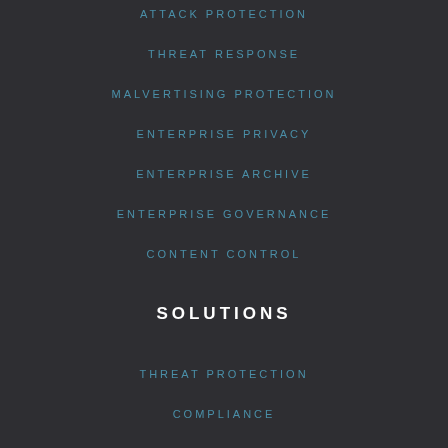ATTACK PROTECTION
THREAT RESPONSE
MALVERTISING PROTECTION
ENTERPRISE PRIVACY
ENTERPRISE ARCHIVE
ENTERPRISE GOVERNANCE
CONTENT CONTROL
SOLUTIONS
THREAT PROTECTION
COMPLIANCE